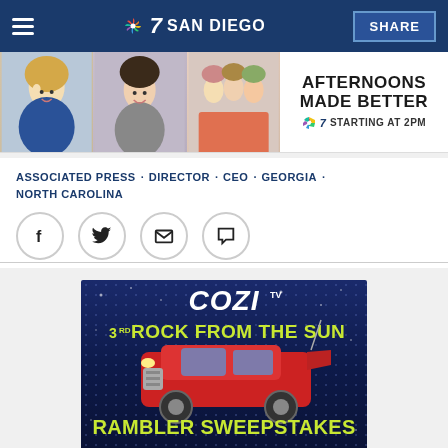NBC 7 San Diego | SHARE
[Figure (photo): Advertisement banner: Afternoons Made Better, Starting at 2PM on NBC 7, featuring photos of TV personalities]
ASSOCIATED PRESS · DIRECTOR · CEO · GEORGIA · NORTH CAROLINA
[Figure (infographic): Social share buttons: Facebook, Twitter, Email, Comment]
[Figure (photo): Cozi TV promotional image: 3rd Rock From the Sun Rambler Sweepstakes, showing a red vintage car on dark blue dotted background with yellow-green text]